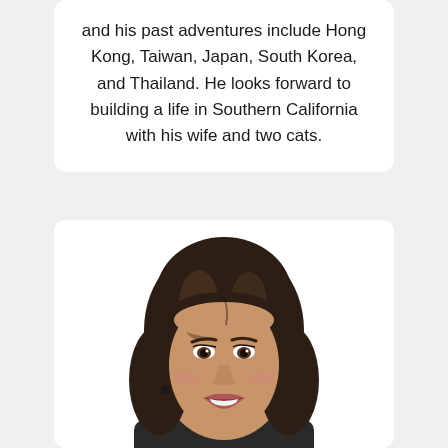and his past adventures include Hong Kong, Taiwan, Japan, South Korea, and Thailand. He looks forward to building a life in Southern California with his wife and two cats.
[Figure (photo): Headshot portrait of a woman with dark brown wavy shoulder-length hair, smiling, wearing a dark top, against a white background.]